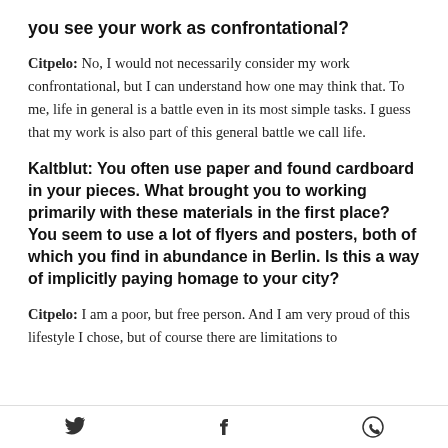you see your work as confrontational?
Citpelo: No, I would not necessarily consider my work confrontational, but I can understand how one may think that. To me, life in general is a battle even in its most simple tasks. I guess that my work is also part of this general battle we call life.
Kaltblut: You often use paper and found cardboard in your pieces. What brought you to working primarily with these materials in the first place? You seem to use a lot of flyers and posters, both of which you find in abundance in Berlin. Is this a way of implicitly paying homage to your city?
Citpelo: I am a poor, but free person. And I am very proud of this lifestyle I chose, but of course there are limitations to
Twitter  Facebook  WhatsApp